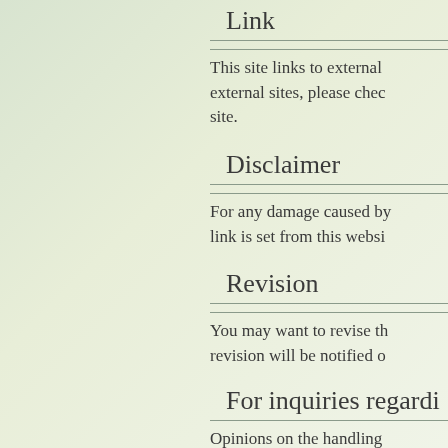Link
This site links to external sites. Before visiting external sites, please check the privacy policy of the site.
Disclaimer
For any damage caused by accessing an external link is set from this website...
Revision
You may want to revise this page. Those who revision will be notified of...
For inquiries regardi...
Opinions on the handling... us at the following window...
[John App]